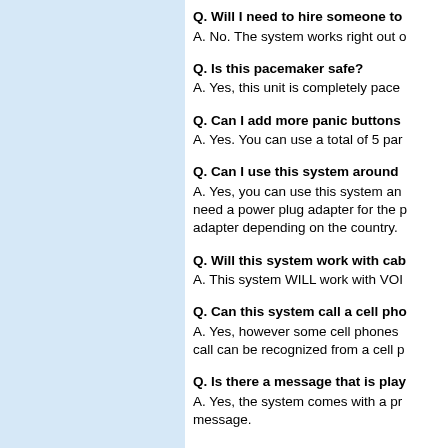Q. Will I need to hire someone to... A. No. The system works right out o...
Q. Is this pacemaker safe? A. Yes, this unit is completely pace...
Q. Can I add more panic buttons... A. Yes. You can use a total of 5 par...
Q. Can I use this system around... A. Yes, you can use this system an... need a power plug adapter for the p... adapter depending on the country.
Q. Will this system work with cab... A. This system WILL work with VOI...
Q. Can this system call a cell pho... A. Yes, however some cell phones... call can be recognized from a cell p...
Q. Is there a message that is play... A. Yes, the system comes with a pr... message.